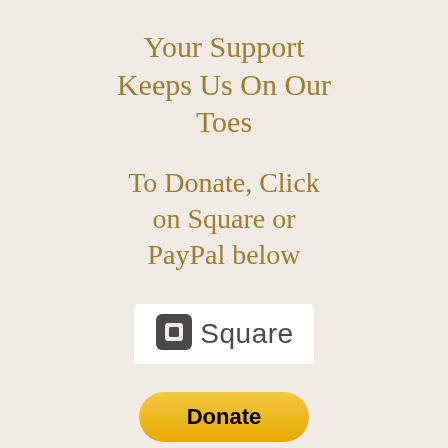Your Support Keeps Us On Our Toes
To Donate, Click on Square or PayPal below
[Figure (logo): Square payment logo: a rounded-square icon with a small square cutout inside, followed by the word 'Square' in gray sans-serif text, on a white background]
[Figure (logo): PayPal Donate button: a yellow/gold pill-shaped button with bold black text reading 'Donate']